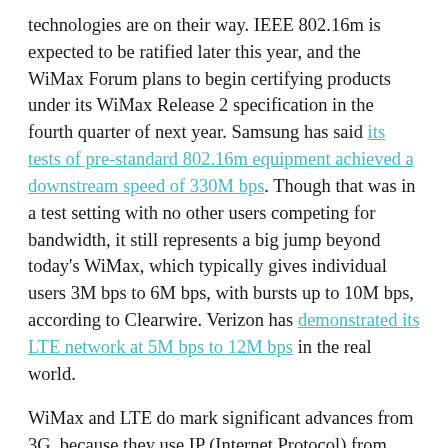technologies are on their way. IEEE 802.16m is expected to be ratified later this year, and the WiMax Forum plans to begin certifying products under its WiMax Release 2 specification in the fourth quarter of next year. Samsung has said its tests of pre-standard 802.16m equipment achieved a downstream speed of 330M bps. Though that was in a test setting with no other users competing for bandwidth, it still represents a big jump beyond today's WiMax, which typically gives individual users 3M bps to 6M bps, with bursts up to 10M bps, according to Clearwire. Verizon has demonstrated its LTE network at 5M bps to 12M bps in the real world.
WiMax and LTE do mark significant advances from 3G, because they use IP (Internet Protocol) from